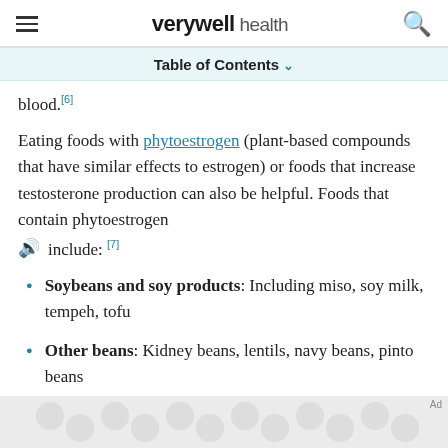verywell health
Table of Contents
blood.[6]
Eating foods with phytoestrogen (plant-based compounds that have similar effects to estrogen) or foods that increase testosterone production can also be helpful. Foods that contain phytoestrogen include: [7]
Soybeans and soy products: Including miso, soy milk, tempeh, tofu
Other beans: Kidney beans, lentils, navy beans, pinto beans